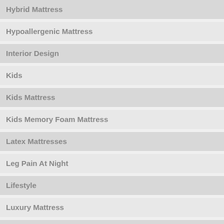Hybrid Mattress
Hypoallergenic Mattress
Interior Design
Kids
Kids Mattress
Kids Memory Foam Mattress
Latex Mattresses
Leg Pain At Night
Lifestyle
Luxury Mattress
Made In Britain
Mattress Care
Mattress Cleaning